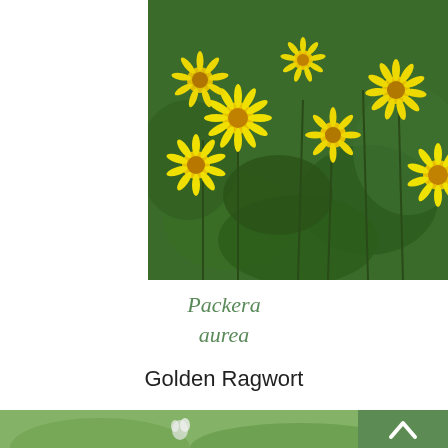[Figure (photo): Close-up photograph of Packera aurea (Golden Ragwort) plant with bright yellow daisy-like flowers and green leaves]
Packera aurea
Golden Ragwort
[Figure (photo): Partial photograph of another plant, green background with a small white flower visible, cut off at bottom of page. Includes a green scroll-to-top button with upward chevron arrow in bottom right corner.]